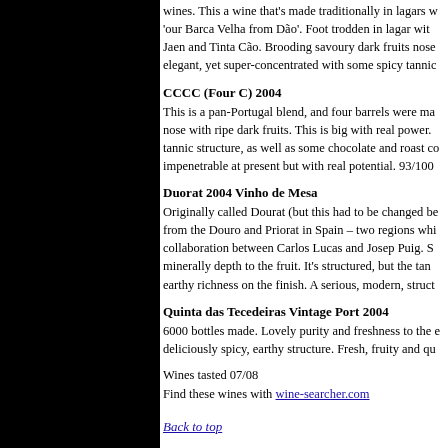wines. This a wine that's made traditionally in lagars w... 'our Barca Velha from Dão'. Foot trodden in lagar with Jaen and Tinta Cão. Brooding savoury dark fruits nose elegant, yet super-concentrated with some spicy tannic
CCCC (Four C) 2004
This is a pan-Portugal blend, and four barrels were ma... nose with ripe dark fruits. This is big with real power. tannic structure, as well as some chocolate and roast c... impenetrable at present but with real potential. 93/100
Duorat 2004 Vinho de Mesa
Originally called Dourat (but this had to be changed be... from the Douro and Priorat in Spain – two regions whi... collaboration between Carlos Lucas and Josep Puig. S... minerally depth to the fruit. It's structured, but the tan... earthy richness on the finish. A serious, modern, struct...
Quinta das Tecedeiras Vintage Port 2004
6000 bottles made. Lovely purity and freshness to the ... deliciously spicy, earthy structure. Fresh, fruity and qu...
Wines tasted 07/08
Find these wines with wine-searcher.com
Back to top